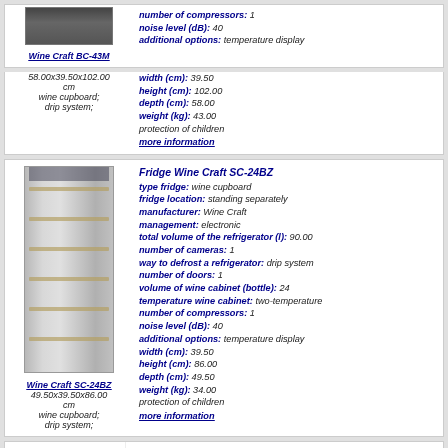Wine Craft BC-43M | 58.00x39.50x102.00 cm | wine cupboard; drip system; | number of compressors: 1 | noise level (dB): 40 | additional options: temperature display | width (cm): 39.50 | height (cm): 102.00 | depth (cm): 58.00 | weight (kg): 43.00 | protection of children | more information
[Figure (photo): Wine Craft BC-43M wine refrigerator product photo]
Fridge Wine Craft SC-24BZ | type fridge: wine cupboard | fridge location: standing separately | manufacturer: Wine Craft | management: electronic | total volume of the refrigerator (l): 90.00 | number of cameras: 1 | way to defrost a refrigerator: drip system | number of doors: 1 | volume of wine cabinet (bottle): 24 | temperature wine cabinet: two-temperature | number of compressors: 1 | noise level (dB): 40 | additional options: temperature display | width (cm): 39.50 | height (cm): 86.00 | depth (cm): 49.50 | weight (kg): 34.00 | protection of children | more information
[Figure (photo): Wine Craft SC-24BZ wine refrigerator product photo]